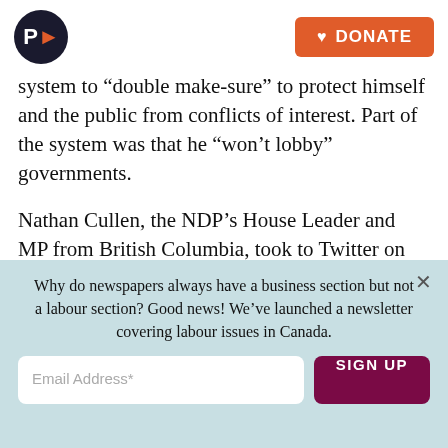P> DONATE
system to “double make-sure” to protect himself and the public from conflicts of interest. Part of the system was that he “won’t lobby” governments.
Nathan Cullen, the NDP’s House Leader and MP from British Columbia, took to Twitter on Sunday to ask the obvious question about Strahl.
Cha... (partial, cut off)
Why do newspapers always have a business section but not a labour section? Good news! We’ve launched a newsletter covering labour issues in Canada.
Email Address*
SIGN UP